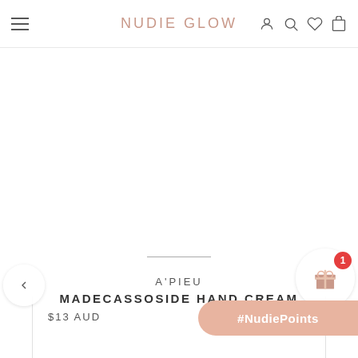Nudie Glow — navigation bar with hamburger menu, logo, and icons
[Figure (screenshot): Product image area — blank white space with a horizontal gray line in the center indicating a loading or placeholder image area]
A'PIEU
MADECASSOSIDE HAND CREAM
$13 AUD
#NudiePoints